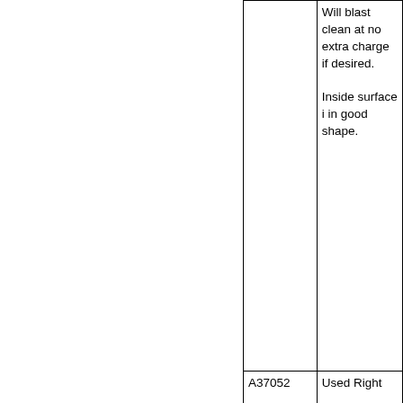|  | Will blast clean at no extra charge if desired.

Inside surface i in good shape. |
| A37052 | Used Right |